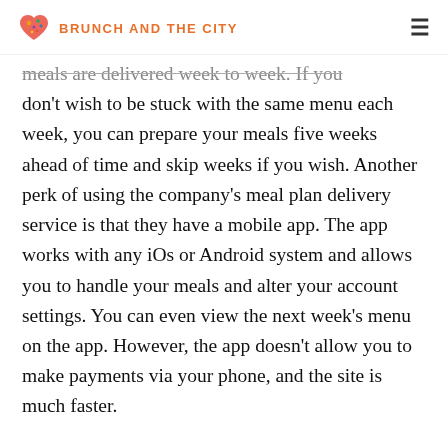BRUNCH AND THE CITY
meals are delivered week to week. If you don't wish to be stuck with the same menu each week, you can prepare your meals five weeks ahead of time and skip weeks if you wish. Another perk of using the company's meal plan delivery service is that they have a mobile app. The app works with any iOs or Android system and allows you to handle your meals and alter your account settings. You can even view the next week's menu on the app. However, the app doesn't allow you to make payments via your phone, and the site is much faster.